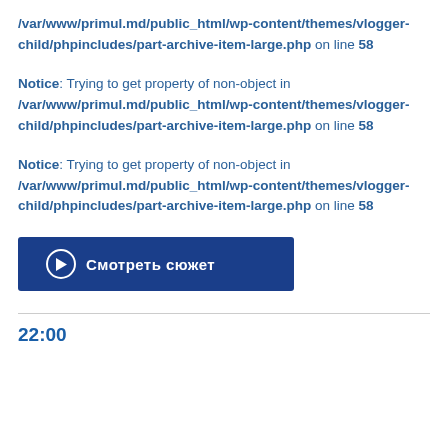/var/www/primul.md/public_html/wp-content/themes/vlogger-child/phpincludes/part-archive-item-large.php on line 58
Notice: Trying to get property of non-object in /var/www/primul.md/public_html/wp-content/themes/vlogger-child/phpincludes/part-archive-item-large.php on line 58
Notice: Trying to get property of non-object in /var/www/primul.md/public_html/wp-content/themes/vlogger-child/phpincludes/part-archive-item-large.php on line 58
[Figure (other): Blue button with play icon and text 'Смотреть сюжет']
22:00